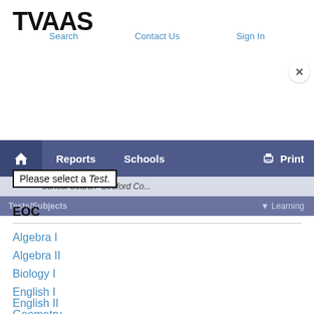TVAAS
Search   Contact Us   Sign In
[Figure (screenshot): TVAAS navigation bar with home icon, Reports, Schools, and Print options, plus breadcrumb showing School Search > Bedford Co...]
Please select a Test.
EOC
Algebra I
Algebra II
Biology I
English I
English II
Geometry